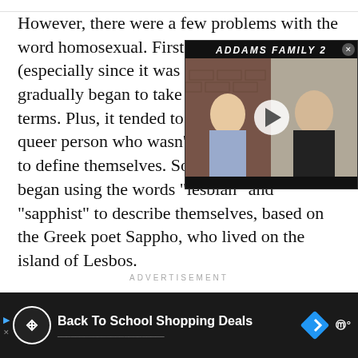However, there were a few problems with the word homosexual. First off, it had (especially since it was used gradually began to take on t terms. Plus, it tended to only queer person who wasn't a man had no way to define themselves. So, women in the 1800s began using the words “lesbian” and “sapphist” to describe themselves, based on the Greek poet Sappho, who lived on the island of Lesbos.
[Figure (screenshot): Video overlay showing Addams Family 2 promotional content with two people in split screen and a play button]
ADVERTISEMENT
[Figure (screenshot): Dark advertisement banner at the bottom showing Back To School Shopping Deals with a circular logo and diamond arrow icon]